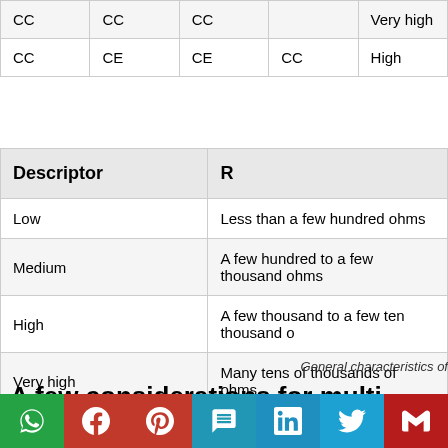| CC | CC | CC |  | Very high |
| --- | --- | --- | --- | --- |
| CC | CE | CE | CC | High |
| Descriptor | R |
| --- | --- |
| Low | Less than a few hundred ohms |
| Medium | A few hundred to a few thousand ohms |
| High | A few thousand to a few ten thousand o... |
| Very high | Many tens of thousands of ohms |
| Extremely high | Over one hundred thousand ohms |
General characteristics of
A few considerations for multi-stage analy
In determining the gain of the first stage, the loading effect of